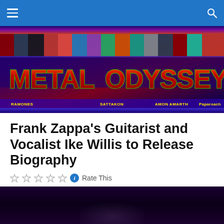Metal Odyssey navigation bar
[Figure (illustration): Metal Odyssey website banner with colorful album cover collage background, large stylized 'METAL ODYSSEY' text in red/orange metallic letters with green outline, and band name labels including RAMONES, SATTAKON, AMON AMARTH, Paparoach along the bottom]
Frank Zappa's Guitarist and Vocalist Ike Willis to Release Biography
Rate This
[Figure (photo): Dark photograph partially visible at bottom of page showing a performer on stage with dark purple/black background]